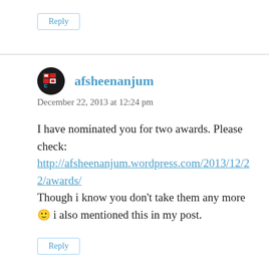Reply
afsheenanjum
December 22, 2013 at 12:24 pm
I have nominated you for two awards. Please check:
http://afsheenanjum.wordpress.com/2013/12/22/awards/
Though i know you don't take them any more 🙂 i also mentioned this in my post.
Reply